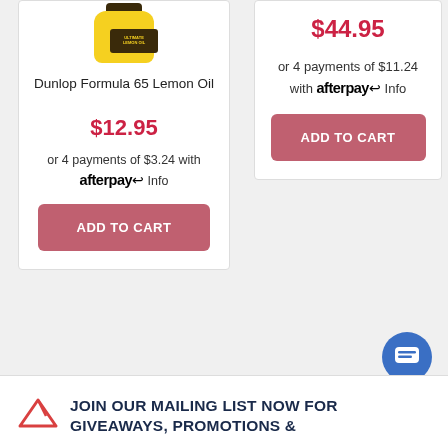[Figure (photo): Partial product image of Dunlop Formula 65 Lemon Oil bottle (yellow bottle with dark cap and label), partially cut off at top]
Dunlop Formula 65 Lemon Oil
$12.95
or 4 payments of $3.24 with afterpay Info
ADD TO CART
$44.95
or 4 payments of $11.24 with afterpay Info
ADD TO CART
JOIN OUR MAILING LIST NOW FOR GIVEAWAYS, PROMOTIONS &